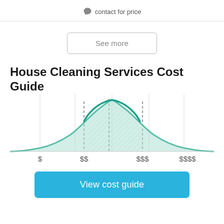contact for price
See more
House Cleaning Services Cost Guide
[Figure (continuous-plot): Bell curve / normal distribution chart showing cost distribution for house cleaning services. The curve is teal/green, with the central region (between $$ and $$$) highlighted with diagonal hatching fill and a darker teal stroke on top. Vertical dashed lines mark the $$ and $$$ range boundaries. X-axis labels: $, $$, $$$, $$$$.]
View cost guide